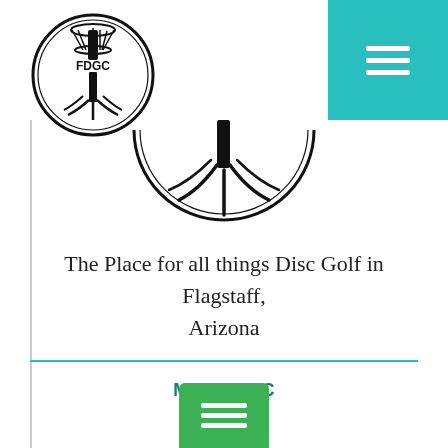[Figure (logo): FDGC circular logo with a disc golf basket/tree design and 'FDGC' text inside, black and white, top-left corner]
[Figure (logo): Bottom portion (cropped bottom arc) of the FDGC circular logo visible in the main content area]
[Figure (screenshot): Teal/turquoise navigation button (hamburger menu icon with three white horizontal lines) in the top-right corner]
The Place for all things Disc Golf in Flagstaff, Arizona
[Figure (other): Horizontal teal divider line]
More FDGC
[Figure (other): Green button/icon with three white horizontal lines (hamburger menu), partially visible at the bottom of the page]